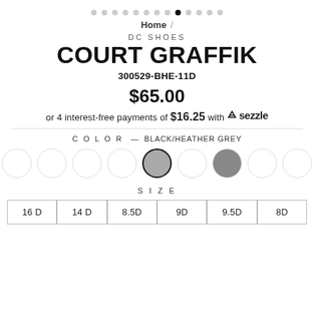[Figure (other): Pagination dots row with 13 dots; the 9th dot is filled/active (black), others are grey]
Home /
DC SHOES
COURT GRAFFIK
300529-BHE-11D
$65.00
or 4 interest-free payments of $16.25 with sezzle
COLOR — BLACK/HEATHER GREY
[Figure (other): Color swatch selector with 9 circular swatches; the 5th swatch (medium grey) is selected with a black border ring; the 7th swatch is a darker grey]
SIZE
| 16 D | 14 D | 8.5D | 9D | 9.5D | 8D |